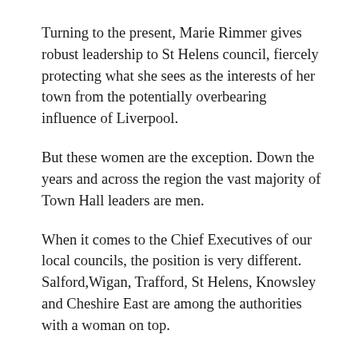Turning to the present, Marie Rimmer gives robust leadership to St Helens council, fiercely protecting what she sees as the interests of her town from the potentially overbearing influence of Liverpool.
But these women are the exception. Down the years and across the region the vast majority of Town Hall leaders are men.
When it comes to the Chief Executives of our local councils, the position is very different. Salford,Wigan, Trafford, St Helens, Knowsley and Cheshire East are among the authorities with a woman on top.
The reason for this perhaps gets us to the heart of the problem of why there aren't more prominent women in politics.